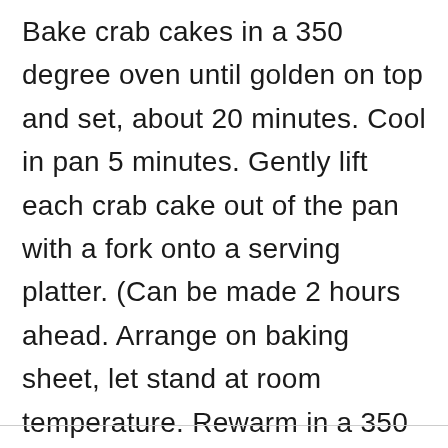Bake crab cakes in a 350 degree oven until golden on top and set, about 20 minutes. Cool in pan 5 minutes. Gently lift each crab cake out of the pan with a fork onto a serving platter. (Can be made 2 hours ahead. Arrange on baking sheet, let stand at room temperature. Rewarm in a 350 degree oven for 5-6 minutes.)